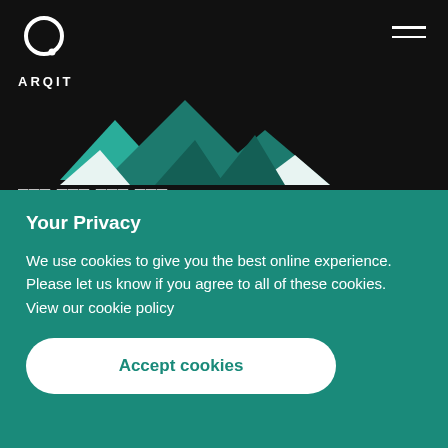ARQIT
[Figure (logo): ARQIT logo: white circle outline with dot and 'ARQIT' text below, on black background]
[Figure (illustration): Geometric mountain/triangle shapes in teal and white on black background]
Your Privacy
We use cookies to give you the best online experience. Please let us know if you agree to all of these cookies.
View our cookie policy
Accept cookies